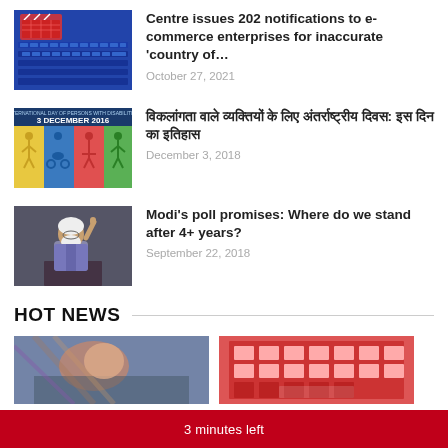[Figure (photo): Shopping basket with items on a laptop keyboard — e-commerce concept image]
Centre issues 202 notifications to e-commerce enterprises for inaccurate 'country of…
October 27, 2021
[Figure (photo): International Day of Persons with Disabilities — 3 December 2016 poster with illustrated figures]
विकलांगता वाले व्यक्तियों के लिए अंतर्राष्ट्रीय दिवस: इस दिन का इतिहास
December 3, 2018
[Figure (photo): Narendra Modi raising finger at a podium — political photo]
Modi's poll promises: Where do we stand after 4+ years?
September 22, 2018
HOT NEWS
[Figure (photo): Two hot news thumbnail images partially visible]
3 minutes left